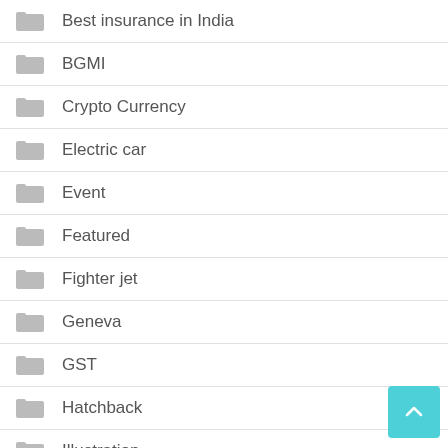Best insurance in India
BGMI
Crypto Currency
Electric car
Event
Featured
Fighter jet
Geneva
GST
Hatchback
Illustration
news
Sedan